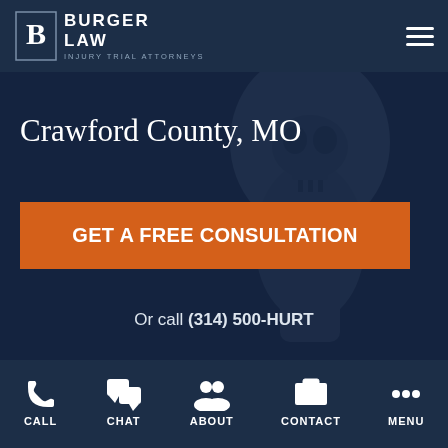BURGER LAW — INJURY TRIAL ATTORNEYS
Crawford County, MO
GET A FREE CONSULTATION
Or call (314) 500-HURT
CALL | CHAT | ABOUT | CONTACT | MENU